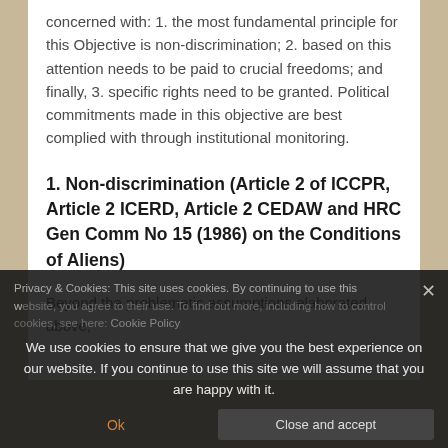concerned with: 1. the most fundamental principle for this Objective is non-discrimination; 2. based on this attention needs to be paid to crucial freedoms; and finally, 3. specific rights need to be granted. Political commitments made in this objective are best complied with through institutional monitoring.
1. Non-discrimination (Article 2 of ICCPR, Article 2 ICERD, Article 2 CEDAW and HRC Gen Comm No 15 (1986) on the Conditions of Aliens)
Beyond the problematic assumptions elaborated above,